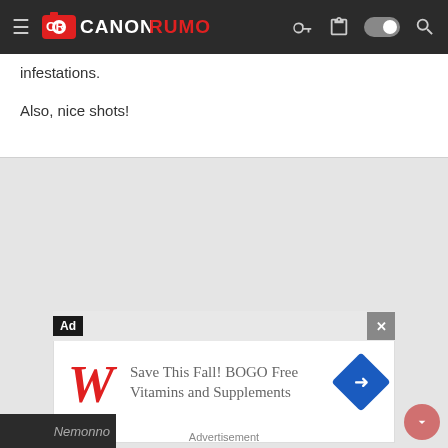CANON RUMORS
infestations.
Also, nice shots!
[Figure (screenshot): Advertisement banner: Walgreens - Save This Fall! BOGO Free Vitamins and Supplements]
Advertisement